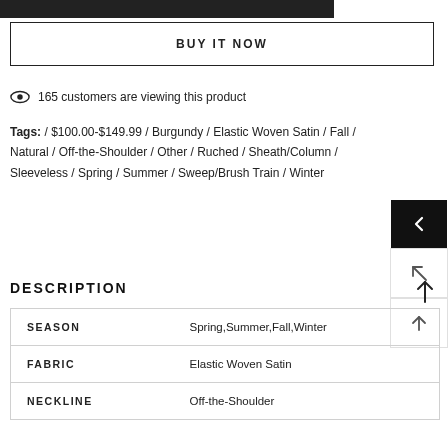[Figure (other): Partial dark/black product image at top of page]
BUY IT NOW
165 customers are viewing this product
Tags: / $100.00-$149.99 / Burgundy / Elastic Woven Satin / Fall / Natural / Off-the-Shoulder / Other / Ruched / Sheath/Column / Sleeveless / Spring / Summer / Sweep/Brush Train / Winter
DESCRIPTION
|  |  |
| --- | --- |
| SEASON | Spring,Summer,Fall,Winter |
| FABRIC | Elastic Woven Satin |
| NECKLINE | Off-the-Shoulder |